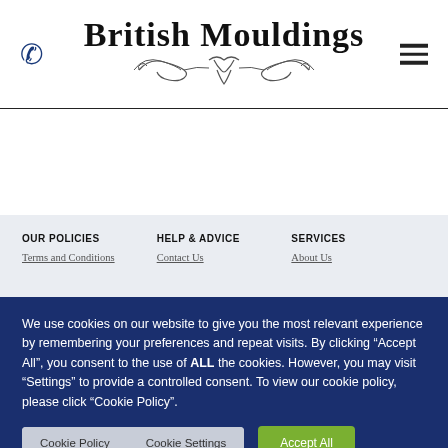[Figure (logo): British Mouldings logo with decorative serif text and ornamental scroll design]
OUR POLICIES
HELP & ADVICE
SERVICES
Terms and Conditions
Contact Us
About Us
We use cookies on our website to give you the most relevant experience by remembering your preferences and repeat visits. By clicking “Accept All”, you consent to the use of ALL the cookies. However, you may visit “Settings” to provide a controlled consent. To view our cookie policy, please click “Cookie Policy”.
Cookie Policy
Cookie Settings
Accept All